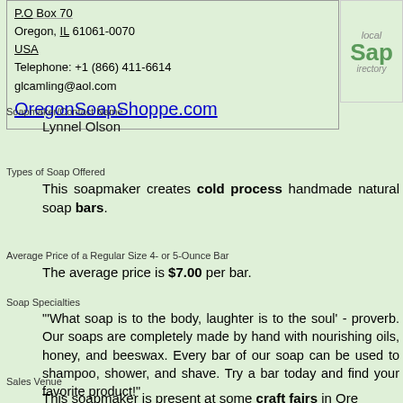P.O Box 70
Oregon, IL 61061-0070
USA
Telephone: +1 (866) 411-6614
glcamling@aol.com
OregonSoapShoppe.com
[Figure (logo): Local Soap Directory logo with text]
Soapmaker/Contact Name
Lynnel Olson
Types of Soap Offered
This soapmaker creates cold process handmade natural soap bars.
Average Price of a Regular Size 4- or 5-Ounce Bar
The average price is $7.00 per bar.
Soap Specialties
"'What soap is to the body, laughter is to the soul' - proverb. Our soaps are completely made by hand with nourishing oils, honey, and beeswax. Every bar of our soap can be used to shampoo, shower, and shave. Try a bar today and find your favorite product!"
Sales Venue
This soapmaker is present at some craft fairs in Ore...